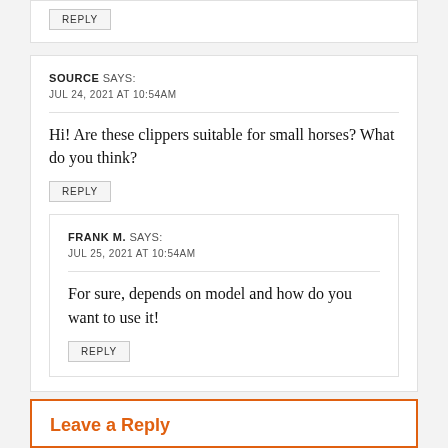REPLY (top button)
SOURCE SAYS:
JUL 24, 2021 AT 10:54AM
Hi! Are these clippers suitable for small horses? What do you think?
REPLY
FRANK M. SAYS:
JUL 25, 2021 AT 10:54AM
For sure, depends on model and how do you want to use it!
REPLY
Leave a Reply